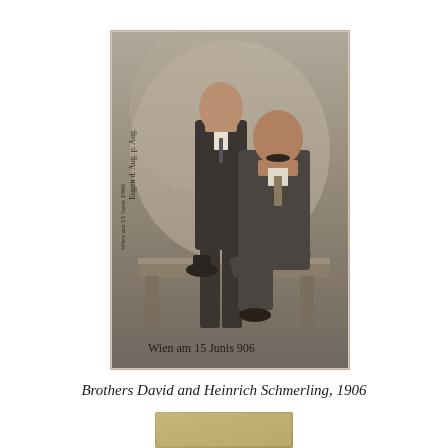[Figure (photo): Sepia-toned antique portrait photograph of two men — one standing, one seated on a bench — in formal early 1900s attire. Handwritten cursive inscription on the left side margin and across the bottom reading 'Wien am 15 Junis 906'.]
Brothers David and Heinrich Schmerling, 1906
[Figure (photo): Partial view of a small aged/yellowed rectangular card or photograph, cropped at the bottom of the page.]